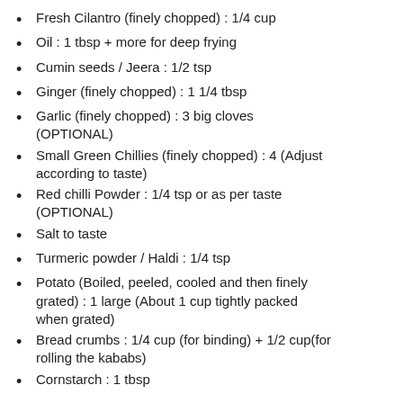Fresh Cilantro (finely chopped) : 1/4 cup
Oil : 1 tbsp + more for deep frying
Cumin seeds / Jeera : 1/2 tsp
Ginger (finely chopped) : 1 1/4 tbsp
Garlic (finely chopped) : 3 big cloves (OPTIONAL)
Small Green Chillies (finely chopped) : 4 (Adjust according to taste)
Red chilli Powder : 1/4 tsp or as per taste (OPTIONAL)
Salt to taste
Turmeric powder / Haldi : 1/4 tsp
Potato (Boiled, peeled, cooled and then finely grated) : 1 large (About 1 cup tightly packed when grated)
Bread crumbs : 1/4 cup (for binding) + 1/2 cup(for rolling the kababs)
Cornstarch : 1 tbsp